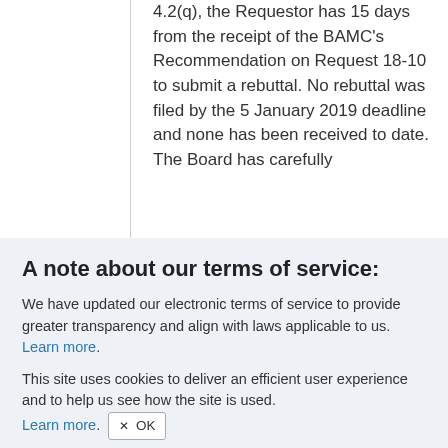4.2(q), the Requestor has 15 days from the receipt of the BAMC's Recommendation on Request 18-10 to submit a rebuttal. No rebuttal was filed by the 5 January 2019 deadline and none has been received to date.

The Board has carefully
A note about our terms of service:
We have updated our electronic terms of service to provide greater transparency and align with laws applicable to us. Learn more.
This site uses cookies to deliver an efficient user experience and to help us see how the site is used. Learn more.  ✕ OK